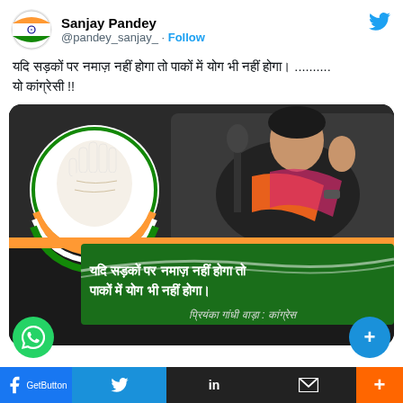Sanjay Pandey @pandey_sanjay_ · Follow
यदि सड़कों पर नमाज़ नहीं होगा तो पाकों में योग भी नहीं होगा। ......... यो कांग्रेसी !!
[Figure (screenshot): A political graphic showing a person at a microphone with an INC (Indian National Congress) hand symbol logo, with Hindi text reading 'यदि सड़कों पर नमाज़ नहीं होगा तो पाकों में योग भी नहीं होगा।' attributed to 'प्रियंका गांधी वाड़ा : कांग्रेस']